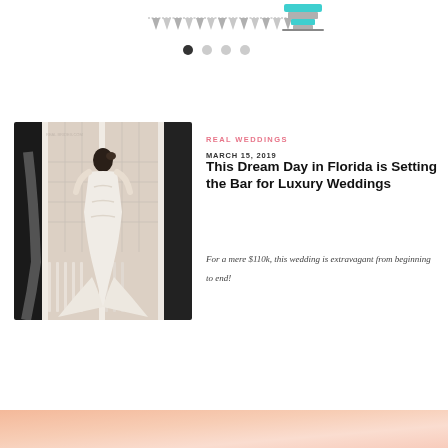[Figure (illustration): Carousel navigation area with decorative bunting/pennant banner and a teal wedding cake icon, with four pagination dots below (first dot active/filled, others hollow)]
[Figure (photo): Bride in a fitted lace mermaid wedding gown with a long train standing on a balcony with white French doors/balustrades, viewed from behind]
REAL WEDDINGS
MARCH 15, 2019
This Dream Day in Florida is Setting the Bar for Luxury Weddings
For a mere $110k, this wedding is extravagant from beginning to end!
[Figure (illustration): Peach/salmon colored gradient banner at the bottom of the page]